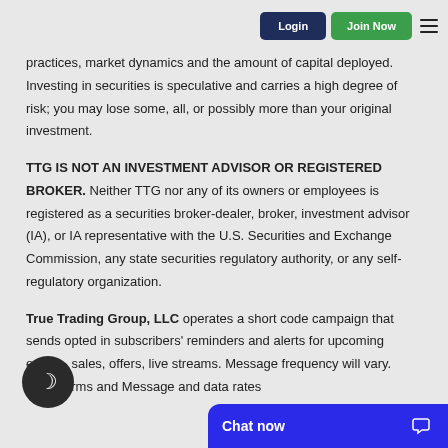Login | Join Now
practices, market dynamics and the amount of capital deployed. Investing in securities is speculative and carries a high degree of risk; you may lose some, all, or possibly more than your original investment.
TTG IS NOT AN INVESTMENT ADVISOR OR REGISTERED BROKER. Neither TTG nor any of its owners or employees is registered as a securities broker-dealer, broker, investment advisor (IA), or IA representative with the U.S. Securities and Exchange Commission, any state securities regulatory authority, or any self-regulatory organization.
True Trading Group, LLC operates a short code campaign that sends opted in subscribers' reminders and alerts for upcoming events, sales, offers, live streams. Message frequency will vary. SMS Terms and Message and data rates